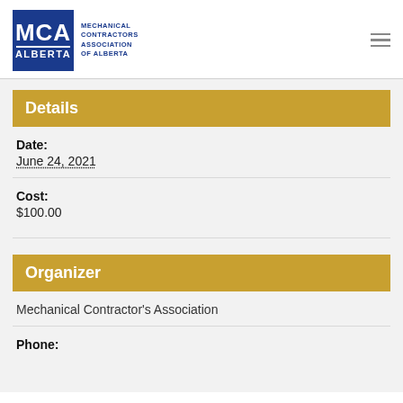[Figure (logo): MCA Alberta – Mechanical Contractors Association of Alberta logo, blue square with MCA text and ALBERTA below, followed by organization name text]
Details
Date:
June 24, 2021
Cost:
$100.00
Organizer
Mechanical Contractor's Association
Phone: